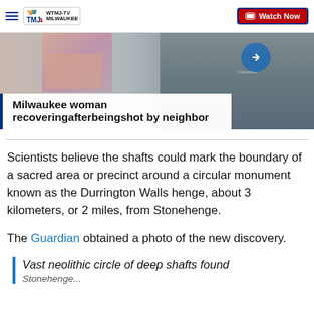WTMJ-TV Milwaukee — Watch Now
[Figure (screenshot): News article thumbnail showing a person in a gray shirt and items on the left, with a right-arrow circle button overlay]
Milwaukee woman recoveringafterbeingshot by neighbor
Scientists believe the shafts could mark the boundary of a sacred area or precinct around a circular monument known as the Durrington Walls henge, about 3 kilometers, or 2 miles, from Stonehenge.
The Guardian obtained a photo of the new discovery.
Vast neolithic circle of deep shafts found
Stonehenge...